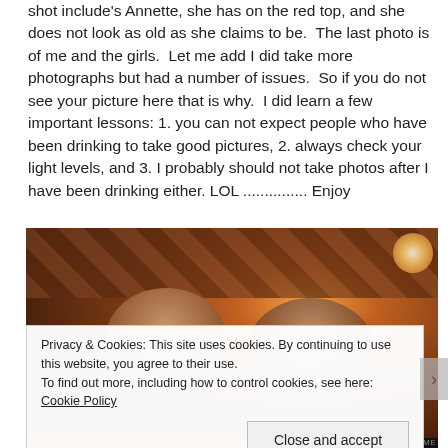shot include's Annette, she has on the red top, and she does not look as old as she claims to be.  The last photo is of me and the girls.  Let me add I did take more photographs but had a number of issues.  So if you do not see your picture here that is why.  I did learn a few important lessons: 1. you can not expect people who have been drinking to take good pictures, 2. always check your light levels, and 3. I probably should not take photos after I have been drinking either. LOL ............... Enjoy
[Figure (photo): Dark indoor photograph showing the backs/tops of heads of people in what appears to be a restaurant or bar setting with warm amber/orange lighting and a patterned ceiling.]
Privacy & Cookies: This site uses cookies. By continuing to use this website, you agree to their use.
To find out more, including how to control cookies, see here: Cookie Policy
Close and accept